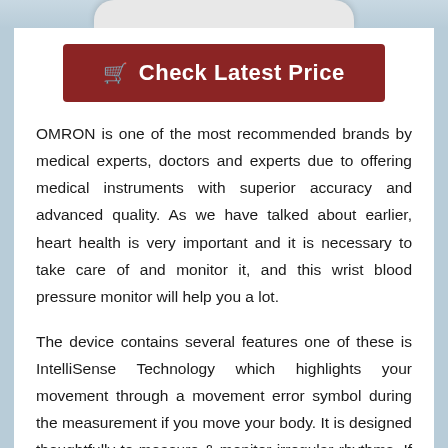[Figure (other): Partial view of a white device (blood pressure monitor) at the top of the page]
Check Latest Price
OMRON is one of the most recommended brands by medical experts, doctors and experts due to offering medical instruments with superior accuracy and advanced quality. As we have talked about earlier, heart health is very important and it is necessary to take care of and monitor it, and this wrist blood pressure monitor will help you a lot.
The device contains several features one of these is IntelliSense Technology which highlights your movement through a movement error symbol during the measurement if you move your body. It is designed thoughtfully to measure & monitor irregular rhythms. If the device shows an irregular